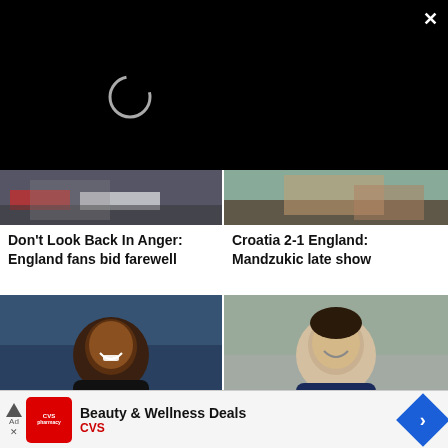[Figure (screenshot): Black video player area with loading spinner circle, close X button top right]
[Figure (photo): Sports photo left half - England fans at World Cup match]
[Figure (photo): Sports photo right half - England vs Croatia match scene]
Don't Look Back In Anger: England fans bid farewell
Croatia 2-1 England: Mandzukic late show
[Figure (photo): Photo of smiling Black footballer in dark training kit]
[Figure (photo): Photo of young white footballer smiling in England training kit]
France 1-0 Belgium: Umt
Sweden 0-2 England: ead
[Figure (screenshot): CVS Beauty & Wellness Deals advertisement banner with CVS logo and navigation arrow]